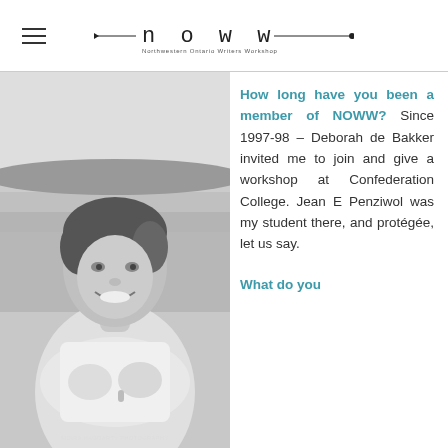noww — Northwestern Ontario Writers Workshop
[Figure (photo): Black and white portrait photograph of a smiling woman with short dark hair, arms crossed, wearing a white t-shirt, standing near water. Photo credit: Moira Haggarty Photography.]
How long have you been a member of NOWW? Since 1997-98 – Deborah de Bakker invited me to join and give a workshop at Confederation College. Jean E Penziwol was my student there, and protégée, let us say.
What do you